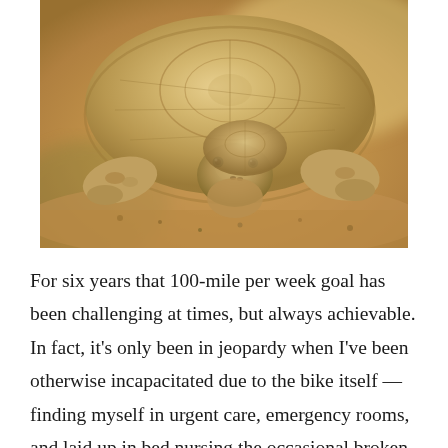[Figure (photo): Close-up photograph of a large tortoise with a smaller tortoise (or baby tortoise) tucked beneath it on sandy ground. The tortoises have tan/brown shells and textured skin. Background is blurred warm sandy/earthy tones with hints of green.]
For six years that 100-mile per week goal has been challenging at times, but always achievable. In fact, it's only been in jeopardy when I've been otherwise incapacitated due to the bike itself — finding myself in urgent care, emergency rooms, and laid up in bed nursing the occasional broken